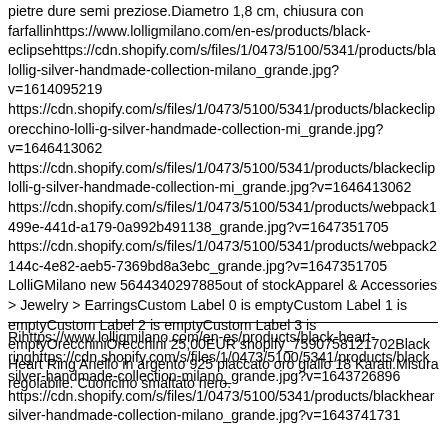pietre dure semi preziose.Diametro 1,8 cm, chiusura con farfallinhttps://www.lolligmilano.com/en-es/products/black-eclipsehttps://cdn.shopify.com/s/files/1/0473/5100/5341/products/bla lollig-silver-handmade-collection-milano_grande.jpg?v=1614095219 https://cdn.shopify.com/s/files/1/0473/5100/5341/products/blackeclip orecchino-lolli-g-silver-handmade-collection-mi_grande.jpg?v=1646413062 https://cdn.shopify.com/s/files/1/0473/5100/5341/products/blackeclip lolli-g-silver-handmade-collection-mi_grande.jpg?v=1646413062 https://cdn.shopify.com/s/files/1/0473/5100/5341/products/webpack1 499e-441d-a179-0a992b491138_grande.jpg?v=1647351705 https://cdn.shopify.com/s/files/1/0473/5100/5341/products/webpack2 144c-4e82-aeb5-7369bd8a3ebc_grande.jpg?v=1647351705 LolliGMilano new 5644340297885out of stockApparel & Accessories > Jewelry > EarringsCustom Label 0 is emptyCustom Label 1 is emptyCustom Label 2 is emptyCustom Label 3 is emptyOrecchiniOrecchini 25,00EUR shopify_7590758121702Black Heart Ring Anello in argento 925 placcato oro giallo 18 Karati.Misura regolabile. Cuoricino smaltato nero.
Rihttps://www.lolligmilano.com/en-es/products/black-heart-ringhttps://cdn.shopify.com/s/files/1/0473/5100/5341/products/black silver-handmade-collection-milano_grande.jpg?v=1643726896 https://cdn.shopify.com/s/files/1/0473/5100/5341/products/blackhear silver-handmade-collection-milano_grande.jpg?v=1643741731